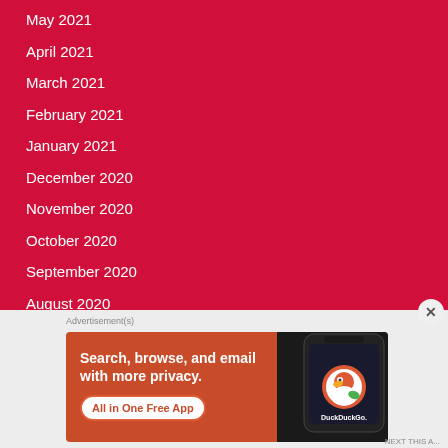May 2021
April 2021
March 2021
February 2021
January 2021
December 2020
November 2020
October 2020
September 2020
August 2020
July 2020
[Figure (screenshot): DuckDuckGo advertisement banner: 'Search, browse, and email with more privacy. All in One Free App' with phone graphic showing DuckDuckGo logo]
Advertisement(s)
NEXT THIS A...